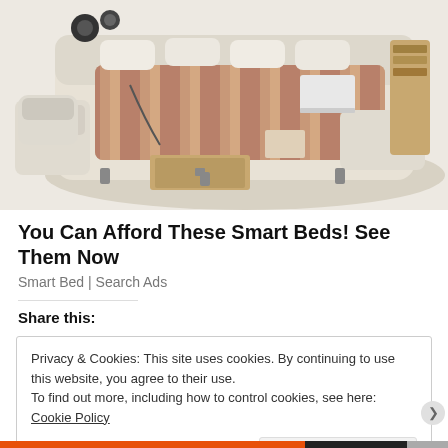[Figure (photo): A multi-functional smart bed with beige/cream upholstery featuring built-in storage drawers, massage chair on left side, speakers, bookshelf on right side, and a laptop on the surface. The bed has numerous compartments and accessories visible.]
You Can Afford These Smart Beds! See Them Now
Smart Bed | Search Ads
Share this:
Privacy & Cookies: This site uses cookies. By continuing to use this website, you agree to their use.
To find out more, including how to control cookies, see here: Cookie Policy
Close and accept